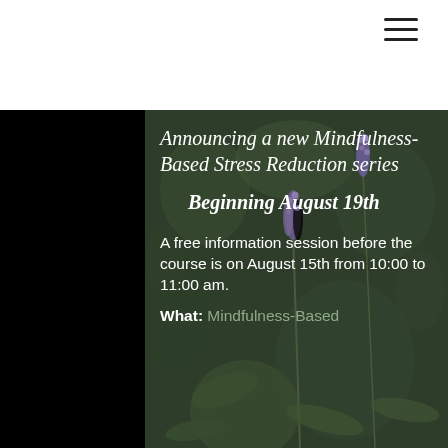☰
[Figure (photo): Dark moody photo of lavender/sage flowers with muted green bokeh background]
Announcing a new Mindfulness-Based Stress Reduction series
Beginning August 19th
A free information session before the course is on August 15th from 10:00 to 11:00 am.
What: Mindfulness-Based